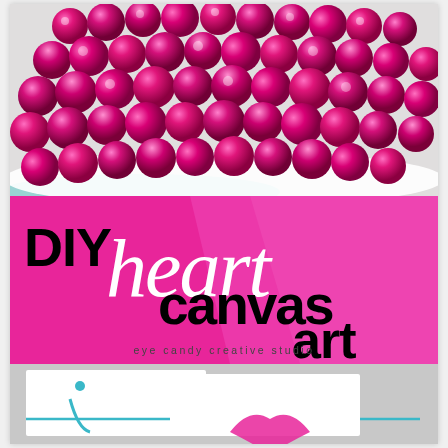[Figure (photo): Photo of many small shiny metallic hot pink/magenta foil-wrapped round balls/beads piled on a white plate with a teal/blue rim, on a light gray background]
DIY heart canvas art
eye candy creative studio
[Figure (photo): Partial view of DIY heart canvas art project showing hand-drawn heart outlines in teal/blue and pink on white canvas paper]